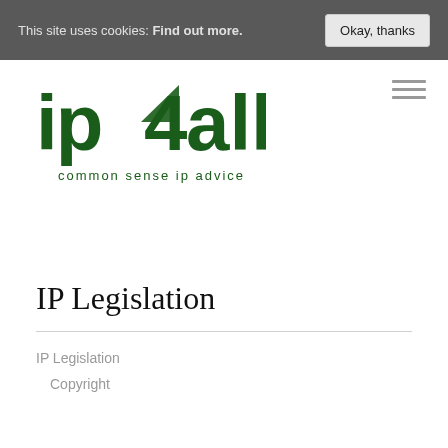This site uses cookies: Find out more.
Okay, thanks
[Figure (logo): ip4all logo with text 'common sense ip advice']
IP Legislation
IP Legislation
Copyright